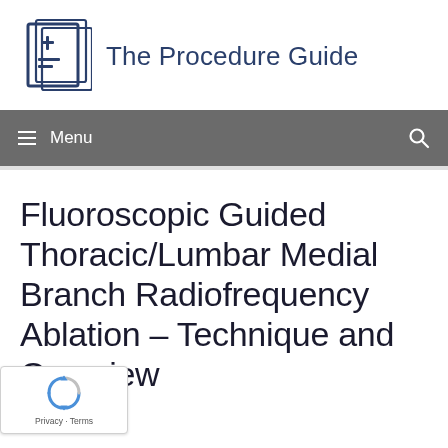The Procedure Guide
Menu
Fluoroscopic Guided Thoracic/Lumbar Medial Branch Radiofrequency Ablation – Technique and Overview